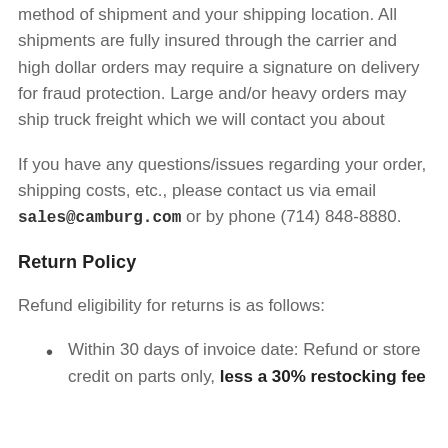method of shipment and your shipping location. All shipments are fully insured through the carrier and high dollar orders may require a signature on delivery for fraud protection. Large and/or heavy orders may ship truck freight which we will contact you about
If you have any questions/issues regarding your order, shipping costs, etc., please contact us via email sales@camburg.com or by phone (714) 848-8880.
Return Policy
Refund eligibility for returns is as follows:
Within 30 days of invoice date: Refund or store credit on parts only, less a 30% restocking fee